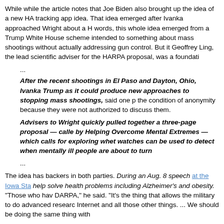While while the article notes that Joe Biden also brought up the idea of a new HARPA tracking app idea. That idea emerged after Ivanka approached Wright about a HARPA... words, this whole idea emerged from a Trump White House scheme intended to do something about mass shootings without actually addressing gun control. But it does... Geoffrey Ling, the lead scientific adviser for the HARPA proposal, was a foundati...
...
After the recent shootings in El Paso and Dayton, Ohio, Ivanka Trump as... it could produce new approaches to stopping mass shootings, said one person on the condition of anonymity because they were not authorized to discuss them.
Advisers to Wright quickly pulled together a three-page proposal — called... by Helping Overcome Mental Extremes — which calls for exploring whet... watches can be used to detect when mentally ill people are about to turn...
...
The idea has backers in both parties. During an Aug. 8 speech at the Iowa Sta... help solve health problems including Alzheimer's and obesity. "Those who have DARPA," he said. "It's the thing that allows the military to do advanced research... Internet and all those other things. ... We should be doing the same thing with...
...
"To those who say this is a half-baked idea, I would say, 'What's your idea? W... the lead scientific adviser on the HARPA proposal.